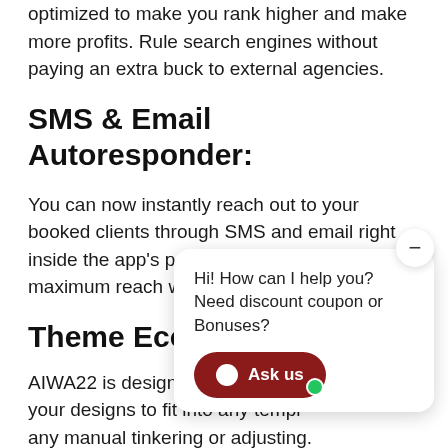optimized to make you rank higher and make more profits. Rule search engines without paying an extra buck to external agencies.
SMS & Email Autoresponder:
You can now instantly reach out to your booked clients through SMS and email right inside the app's powerful dashboard. Get maximum reach with less the effort.
Theme Ecosystem:
AIWA22 is designed to instantly translate all your designs to fit into any template without any manual tinkering or adjusting. Build perfect websites every single time - even with